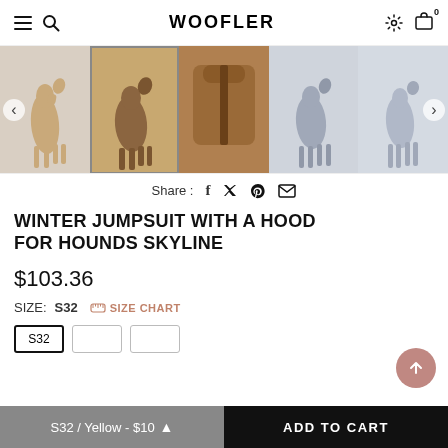WOOFLER
[Figure (photo): Product image carousel showing five photos of dogs wearing a winter jumpsuit with hood. Images show: 1) tan/cream greyhound standing without suit, 2) greyhound in brown/tan full body suit with hood, 3) close-up of brown jumpsuit back/hood detail, 4) greyhound in grey full body suit viewed from side, 5) similar greyhound in grey suit.]
Share : f  𝕏  𝕡  ✉
WINTER JUMPSUIT WITH A HOOD FOR HOUNDS SKYLINE
$103.36
SIZE: S32  🔍 SIZE CHART
S32 / Yellow - $10
ADD TO CART